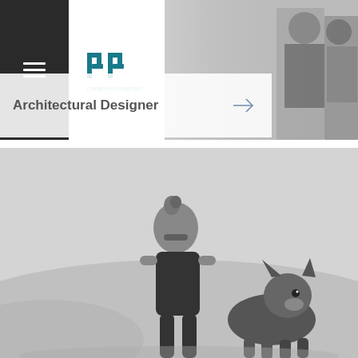[Figure (logo): rowland+broughton architectural firm logo with stylized rr lettermark in teal]
[Figure (photo): Black and white photo of people, partially visible on right side of header]
Architectural Designer
[Figure (photo): Black and white photo of a woman with sunglasses and a dog (appears to be a husky or similar breed) outdoors in a desert/sandy landscape]